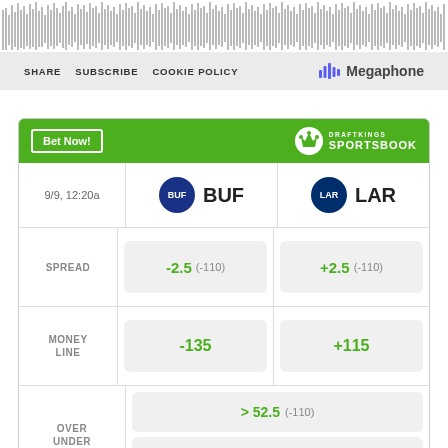[Figure (other): Audio waveform visualization at top of page]
SHARE   SUBSCRIBE   COOKIE POLICY   Megaphone
|  | BUF | LAR |
| --- | --- | --- |
| 9/9, 12:20a | BUF | LAR |
| SPREAD | -2.5 (-110) | +2.5 (-110) |
| MONEY LINE | -135 | +115 |
| OVER UNDER | > 52.5 (-110)  < 52.5 (-110) |  |
Odds/Lines subject to change. See draftkings.com for details.